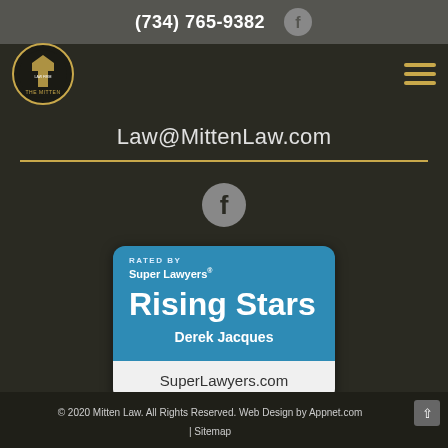(734) 765-9382
[Figure (logo): The Mitten Law Firm circular badge logo]
Law@MittenLaw.com
[Figure (logo): Facebook circular icon]
[Figure (infographic): Rated by Super Lawyers - Rising Stars badge for Derek Jacques - SuperLawyers.com]
© 2020 Mitten Law. All Rights Reserved. Web Design by Appnet.com | Sitemap